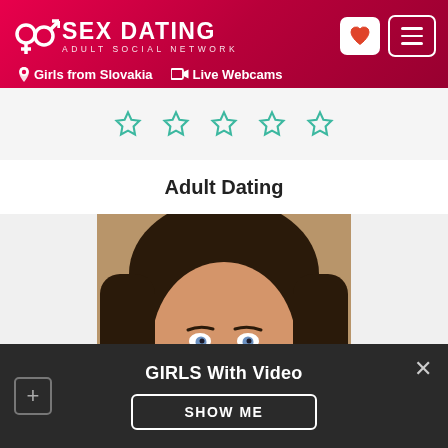SEX DATING — ADULT SOCIAL NETWORK — Girls from Slovakia — Live Webcams
[Figure (other): Five empty star rating icons in teal/green outline]
Adult Dating
[Figure (photo): Portrait photo of a dark-haired woman with blue eyes and red lipstick, smiling at camera]
GIRLS With Video
SHOW ME